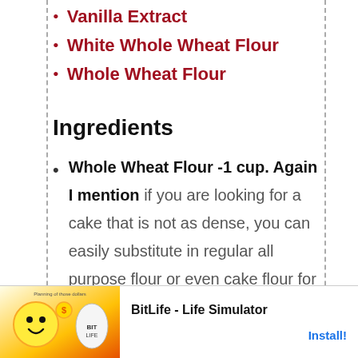Vanilla Extract
White Whole Wheat Flour
Whole Wheat Flour
Ingredients
Whole Wheat Flour -1 cup. Again I mention if you are looking for a cake that is not as dense, you can easily substitute in regular all purpose flour or even cake flour for half of the whole wheat flour.